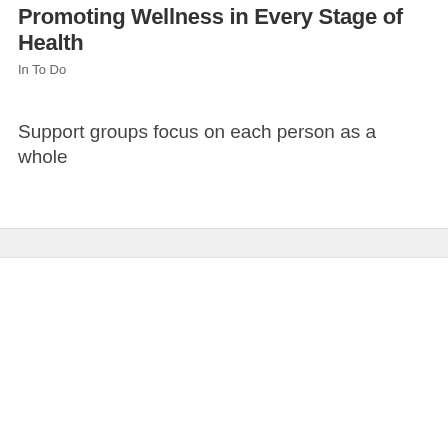Promoting Wellness in Every Stage of Health
In To Do
Support groups focus on each person as a whole